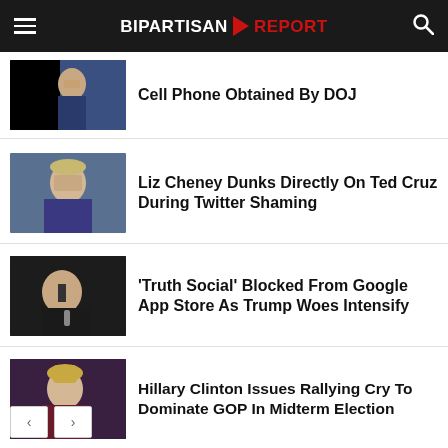BIPARTISAN REPORT
Cell Phone Obtained By DOJ
Liz Cheney Dunks Directly On Ted Cruz During Twitter Shaming
'Truth Social' Blocked From Google App Store As Trump Woes Intensify
Hillary Clinton Issues Rallying Cry To Dominate GOP In Midterm Election